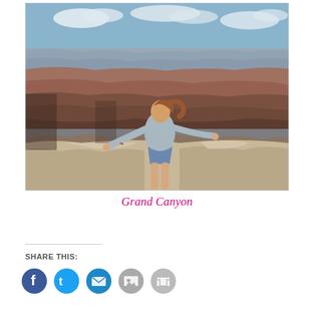[Figure (photo): A young woman with auburn hair in a ponytail stands at the rim of the Grand Canyon with arms outstretched, wearing a grey hoodie and denim shorts. The Grand Canyon's layered red and brown rock formations and blue sky with clouds are visible in the background.]
Grand Canyon
SHARE THIS: